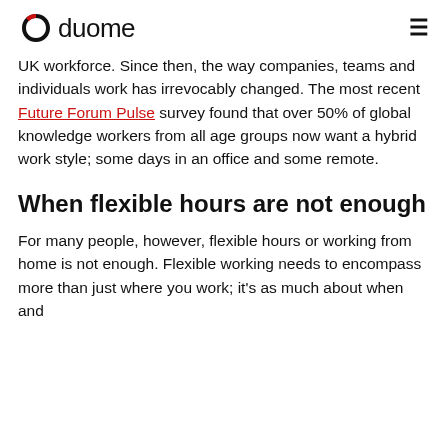duome
UK workforce. Since then, the way companies, teams and individuals work has irrevocably changed. The most recent Future Forum Pulse survey found that over 50% of global knowledge workers from all age groups now want a hybrid work style; some days in an office and some remote.
When flexible hours are not enough
For many people, however, flexible hours or working from home is not enough. Flexible working needs to encompass more than just where you work; it's as much about when and